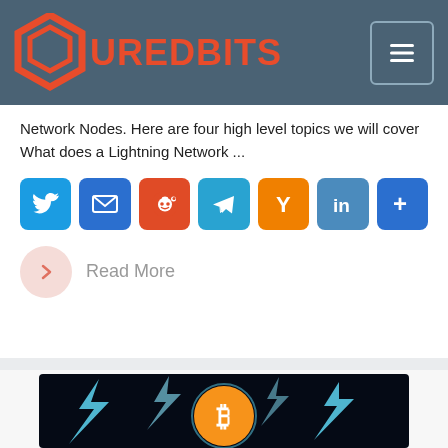SUREDBITS
Network Nodes. Here are four high level topics we will cover What does a Lightning Network ...
[Figure (infographic): Social sharing icons row: Twitter (blue), Email (blue), Reddit (orange), Telegram (blue), Hacker News Y (orange), LinkedIn (blue), More/Share (blue)]
Read More
[Figure (photo): Bitcoin logo with lightning bolts striking around it on a dark background]